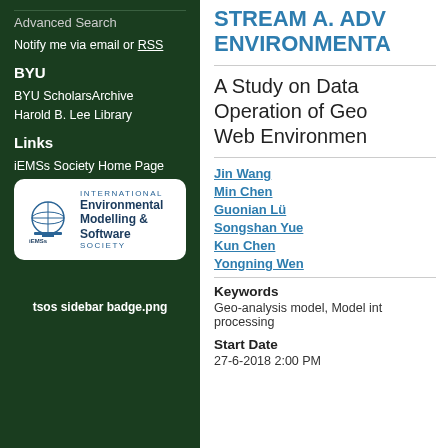Advanced Search
Notify me via email or RSS
BYU
BYU ScholarsArchive
Harold B. Lee Library
Links
iEMSs Society Home Page
[Figure (logo): INTERNATIONAL Environmental Modelling & Software SOCIETY badge/logo with globe icon]
tsos sidebar badge.png
STREAM A. ADV ENVIRONMENTAL
A Study on Data Operation of Geo Web Environmen
Jin Wang
Min Chen
Guonian Lü
Songshan Yue
Kun Chen
Yongning Wen
Keywords
Geo-analysis model, Model int processing
Start Date
27-6-2018 2:00 PM